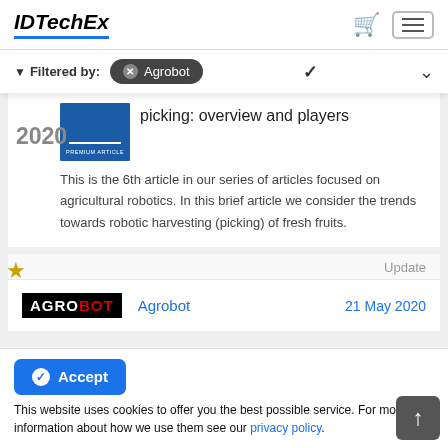IDTechEx
Filtered by: Agrobot
picking: overview and players
2020
This is the 6th article in our series of articles focused on agricultural robotics. In this brief article we consider the trends towards robotic harvesting (picking) of fresh fruits.
Update
[Figure (logo): Agrobot company logo - white text on black background with BOT in red]
Agrobot   21 May 2020
Accept
This website uses cookies to offer you the best possible service. For more information about how we use them see our privacy policy.